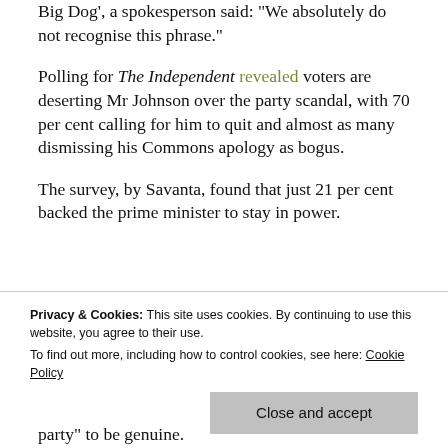Big Dog', a spokesperson said: "We absolutely do not recognise this phrase."
Polling for The Independent revealed voters are deserting Mr Johnson over the party scandal, with 70 per cent calling for him to quit and almost as many dismissing his Commons apology as bogus.
The survey, by Savanta, found that just 21 per cent backed the prime minister to stay in power.
Privacy & Cookies: This site uses cookies. By continuing to use this website, you agree to their use. To find out more, including how to control cookies, see here: Cookie Policy
party" to be genuine.